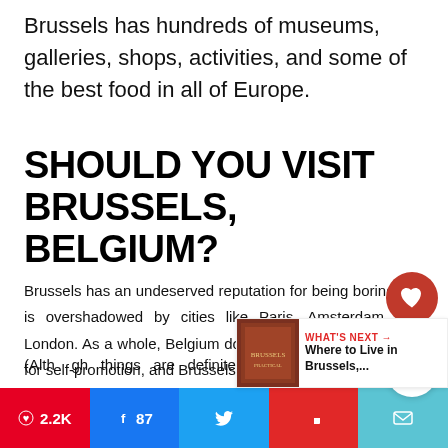Brussels has hundreds of museums, galleries, shops, activities, and some of the best food in all of Europe.
SHOULD YOU VISIT BRUSSELS, BELGIUM?
Brussels has an undeserved reputation for being boring and is overshadowed by cities like Paris, Amsterdam, and London. As a whole, Belgium doesn't have the best track record for self-promotion, and Brussels is no exception (Although things are definitely getting bett...
[Figure (infographic): Social sharing bar with Pinterest (2.2K), Facebook (87), Twitter, Flipboard, and Email buttons at the bottom of the page. A floating heart icon with count 1 and a share icon overlay on the right. A 'What's Next' panel showing 'Where to Live in Brussels,...']